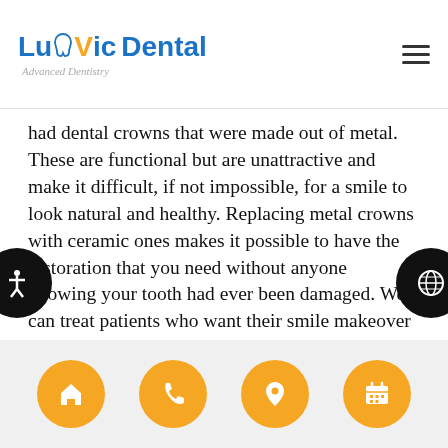LuVic Dental — Advanced Dentistry
had dental crowns that were made out of metal. These are functional but are unattractive and make it difficult, if not impossible, for a smile to look natural and healthy. Replacing metal crowns with ceramic ones makes it possible to have the restoration that you need without anyone knowing your tooth had ever been damaged. We can treat patients who want their smile makeover to include getting rid of outdated metal crowns.
Dental crowns can accomplish similar goals to veneers. They can make teeth even, close gaps, cover stains, and restore cracked or chipped